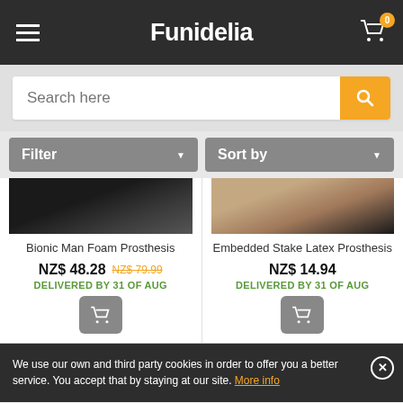Funidelia
[Figure (screenshot): Search bar with orange search button on grey background]
Filter | Sort by
[Figure (photo): Bionic Man Foam Prosthesis product image - dark toned]
Bionic Man Foam Prosthesis
NZ$ 48.28 NZ$ 79.99
DELIVERED BY 31 OF AUG
[Figure (photo): Embedded Stake Latex Prosthesis product image]
Embedded Stake Latex Prosthesis
NZ$ 14.94
DELIVERED BY 31 OF AUG
We use our own and third party cookies in order to offer you a better service. You accept that by staying at our site. More info